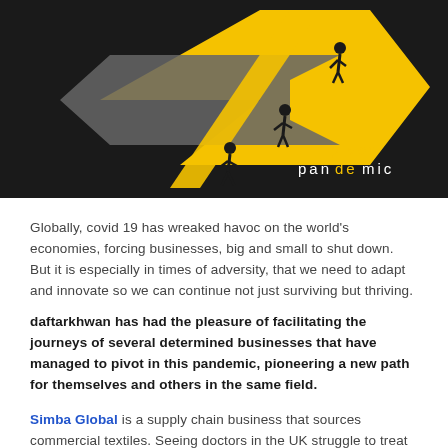[Figure (illustration): Dark background illustration with yellow and grey opposing arrows forming a pivot symbol, silhouettes of human figures climbing/falling, and the text 'pivot pandemic' in the bottom right corner with 'pivot' in yellow and 'pandemic' in white with a yellow 'de' highlight.]
Globally, covid 19 has wreaked havoc on the world's economies, forcing businesses, big and small to shut down. But it is especially in times of adversity, that we need to adapt and innovate so we can continue not just surviving but thriving.
daftarkhwan has had the pleasure of facilitating the journeys of several determined businesses that have managed to pivot in this pandemic, pioneering a new path for themselves and others in the same field.
Simba Global is a supply chain business that sources commercial textiles. Seeing doctors in the UK struggle to treat